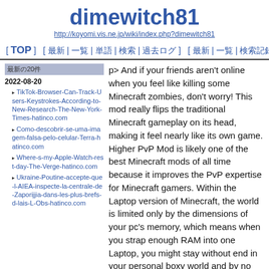dimewitch81
http://koyomi.vis.ne.jp/wiki/index.php?dimewitch81
[ TOP ]  [ 最新 | 一覧 | 単語 | 検索 | 過去ログ ]  [ 最新 | 一覧 | 検索記録 | ブックマーク | Help ]
最新の20件
2022-08-20
TikTok-Browser-Can-Track-Users-Keystrokes-According-to-New-Research-The-New-York-Times-hatinco.com
Como-descobrir-se-uma-imagem-falsa-pelo-celular-Terra-hatinco.com
Where-s-my-Apple-Watch-rest-day-The-Verge-hatinco.com
Ukraine-Poutine-accepte-que-l-AIEA-inspecte-la-centrale-de-Zaporijjia-dans-les-plus-brefs-d-lais-L-Obs-hatinco.com
p> And if your friends aren't online when you feel like killing some Minecraft zombies, don't worry! This mod really flips the traditional Minecraft gameplay on its head, making it feel nearly like its own game. Higher PvP Mod is likely one of the best Minecraft mods of all time because it improves the PvP expertise for Minecraft gamers. Within the Laptop version of Minecraft, the world is limited only by the dimensions of your pc's memory, which means when you strap enough RAM into one Laptop, you might stay without end in your personal boxy world and by no means visit the identical place twice. The release has occurred on December 10, 2021. After